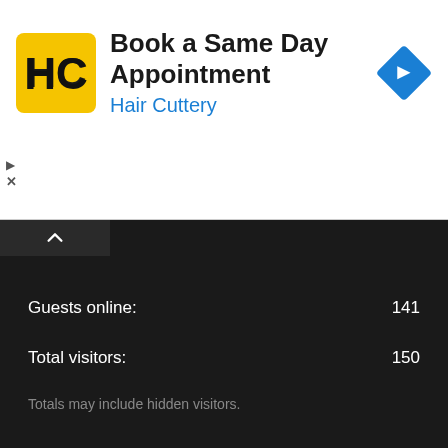[Figure (infographic): Hair Cuttery advertisement banner with yellow/black logo and blue arrow navigation icon. Text reads 'Book a Same Day Appointment' with 'Hair Cuttery' in blue below.]
Guests online: 141
Total visitors: 150
Totals may include hidden visitors.
What's new
New posts
New profile posts
Latest activity
Forum statistics